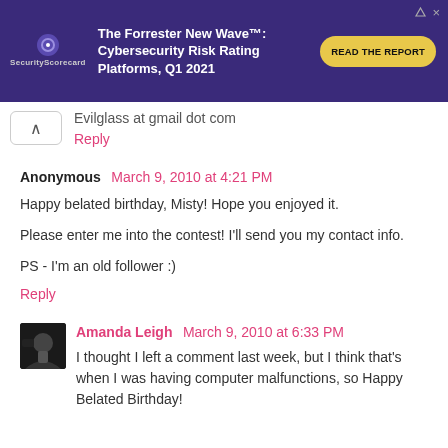[Figure (screenshot): SecurityScorecard advertisement banner — The Forrester New Wave™: Cybersecurity Risk Rating Platforms, Q1 2021 with a READ THE REPORT button]
Evilglass at gmail dot com
Reply
Anonymous  March 9, 2010 at 4:21 PM
Happy belated birthday, Misty! Hope you enjoyed it.

Please enter me into the contest! I'll send you my contact info.

PS - I'm an old follower :)
Reply
Amanda Leigh  March 9, 2010 at 6:33 PM
I thought I left a comment last week, but I think that's when I was having computer malfunctions, so Happy Belated Birthday!